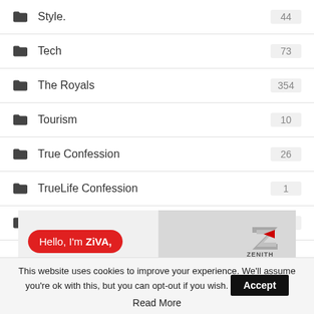Style. 44
Tech 73
The Royals 354
Tourism 10
True Confession 26
TrueLife Confession 1
Uncategorized 335
[Figure (other): Advertisement banner split into two panels. Left panel (light gray) shows a red rounded badge with text 'Hello, I'm ZiVA,'. Right panel (darker gray) shows the Zenith bank logo with a Z icon and 'ZENITH' text.]
This website uses cookies to improve your experience. We'll assume you're ok with this, but you can opt-out if you wish. Accept
Read More